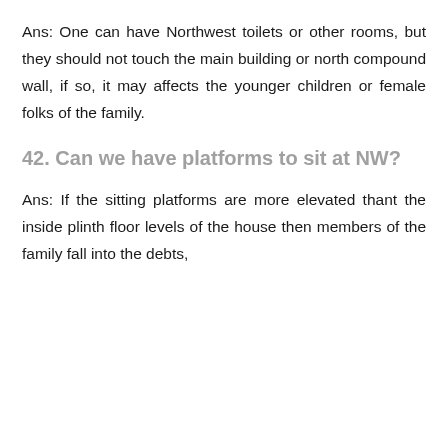Ans: One can have Northwest toilets or other rooms, but they should not touch the main building or north compound wall, if so, it may affects the younger children or female folks of the family.
42. Can we have platforms to sit at NW?
Ans: If the sitting platforms are more elevated thant the inside plinth floor levels of the house then members of the family fall into the debts,